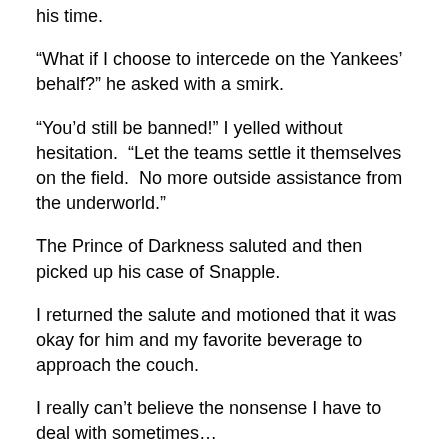Lucien, however, just sighed and noted that I was wasting his time.
“What if I choose to intercede on the Yankees’ behalf?” he asked with a smirk.
“You’d still be banned!” I yelled without hesitation.  “Let the teams settle it themselves on the field.  No more outside assistance from the underworld.”
The Prince of Darkness saluted and then picked up his case of Snapple.
I returned the salute and motioned that it was okay for him and my favorite beverage to approach the couch.
I really can’t believe the nonsense I have to deal with sometimes…